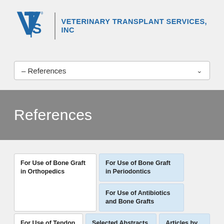[Figure (logo): Veterinary Transplant Services, Inc logo with VTS snake-and-staff emblem and blue company name text]
– References
References
For Use of Bone Graft in Orthopedics
For Use of Bone Graft in Periodontics
For Use of Antibiotics and Bone Grafts
For Use of Tendon Allografts
Selected Abstracts by Dr. Newman
Articles by Dr. Newman